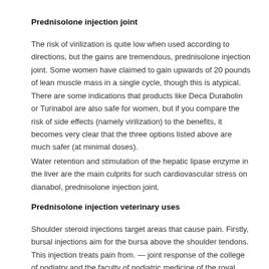Prednisolone injection joint
The risk of virilization is quite low when used according to directions, but the gains are tremendous, prednisolone injection joint. Some women have claimed to gain upwards of 20 pounds of lean muscle mass in a single cycle, though this is atypical. There are some indications that products like Deca Durabolin or Turinabol are also safe for women, but if you compare the risk of side effects (namely virilization) to the benefits, it becomes very clear that the three options listed above are much safer (at minimal doses).
Water retention and stimulation of the hepatic lipase enzyme in the liver are the main culprits for such cardiovascular stress on dianabol, prednisolone injection joint.
Prednisolone injection veterinary uses
Shoulder steroid injections target areas that cause pain. Firstly, bursal injections aim for the bursa above the shoulder tendons. This injection treats pain from. — joint response of the college of podiatry and the faculty of podiatric medicine of the royal college of physicians and surgeons of glasgow:. Cartilage helps to cushion the joints, and cartilage loss is the major cause of